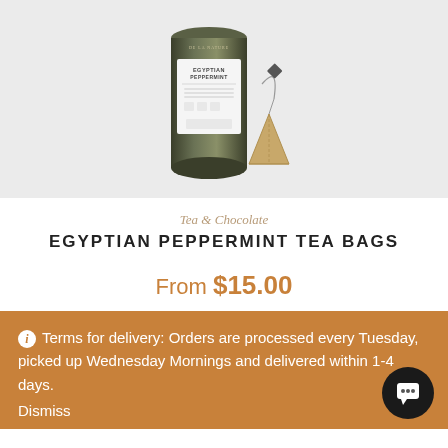[Figure (photo): Egyptian Peppermint Tea Bags product photo showing a dark cylindrical tin with white label and a pyramid tea bag beside it, on a light grey background]
Tea & Chocolate
EGYPTIAN PEPPERMINT TEA BAGS
From $15.00
ℹ Terms for delivery: Orders are processed every Tuesday, picked up Wednesday Mornings and delivered within 1-4 days.
Dismiss